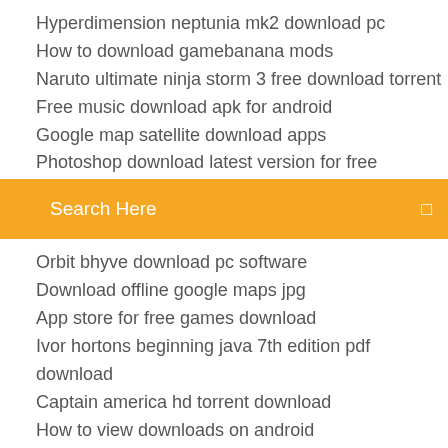Hyperdimension neptunia mk2 download pc
How to download gamebanana mods
Naruto ultimate ninja storm 3 free download torrent
Free music download apk for android
Google map satellite download apps
Photoshop download latest version for free
[Figure (screenshot): Search bar with orange/amber background and text 'Search Here' with a small icon on the right]
Orbit bhyve download pc software
Download offline google maps jpg
App store for free games download
Ivor hortons beginning java 7th edition pdf download
Captain america hd torrent download
How to view downloads on android
Youtube video downloader mp4 720p
Whatsapp for pc macbook pro free download
Serie oz download legendado torrent
File compare tool windows download